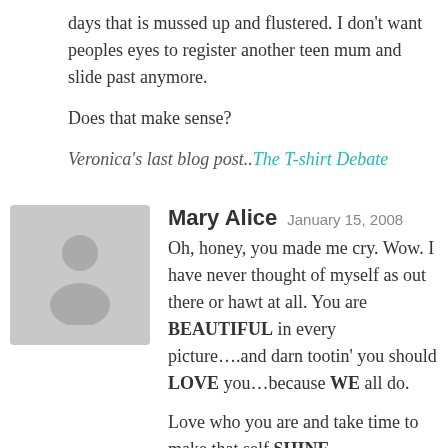days that is mussed up and flustered. I don't want peoples eyes to register another teen mum and slide past anymore.
Does that make sense?
Veronica's last blog post..The T-shirt Debate
Mary Alice  January 15, 2008
[Figure (illustration): Grey avatar placeholder with silhouette of a person]
Oh, honey, you made me cry. Wow. I have never thought of myself as out there or hawt at all. You are BEAUTIFUL in every picture….and darn tootin' you should LOVE you…because WE all do.
Love who you are and take time to make that self SHINE…
Hugs, my bloggin' friend.
Mary Alice's last blog post..Fashion